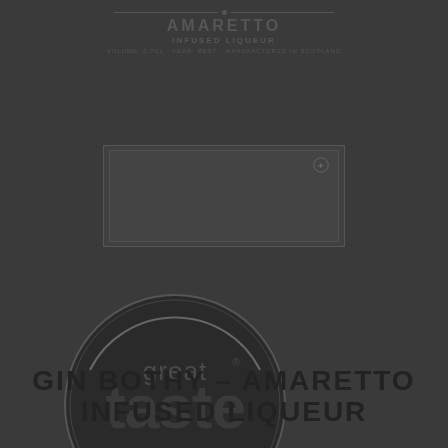[Figure (illustration): Product label for Amaretto Infused Liqueur showing brand name text and a rectangular label box]
[Figure (logo): Great Taste Producer circular badge/seal logo in dark tones]
GIN BOTHY – AMARETTO INFUSED LIQUEUR